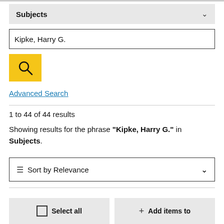Subjects
Kipke, Harry G.
Advanced Search
1 to 44 of 44 results
Showing results for the phrase "Kipke, Harry G." in Subjects.
Sort by Relevance
Select all
Add items to